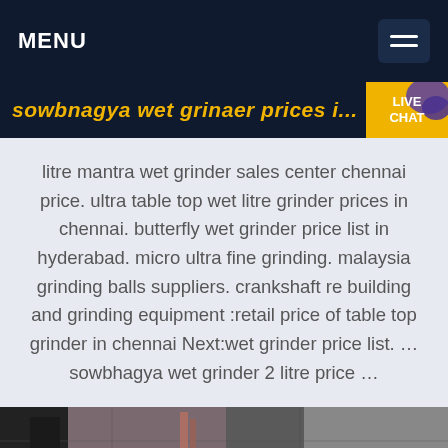MENU
sowbnagya wet grinaer prices i...
litre mantra wet grinder sales center chennai price. ultra table top wet litre grinder prices in chennai. butterfly wet grinder price list in hyderabad. micro ultra fine grinding. malaysia grinding balls suppliers. crankshaft re building and grinding equipment :retail price of table top grinder in chennai Next:wet grinder price list. ... sowbhagya wet grinder 2 litre price ...
[Figure (photo): Partial view of machinery or industrial equipment, dark tones]
Get a Quote
WhatsApp